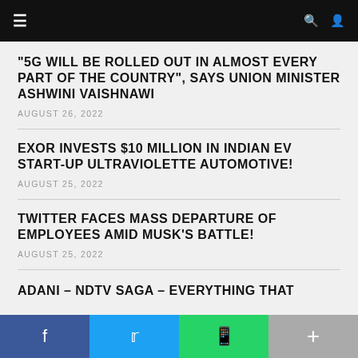Navigation bar with hamburger menu, search and user icons
"5G WILL BE ROLLED OUT IN ALMOST EVERY PART OF THE COUNTRY", SAYS UNION MINISTER ASHWINI VAISHNAWI
AUGUST 26, 2022
EXOR INVESTS $10 MILLION IN INDIAN EV START-UP ULTRAVIOLETTE AUTOMOTIVE!
AUGUST 25, 2022
TWITTER FACES MASS DEPARTURE OF EMPLOYEES AMID MUSK'S BATTLE!
AUGUST 25, 2022
ADANI – NDTV SAGA – EVERYTHING THAT
Social share bar: Facebook, Twitter, WhatsApp, More